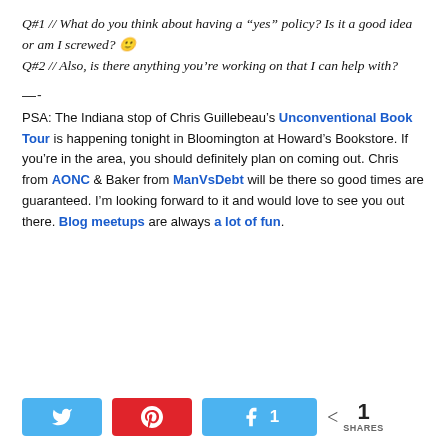Q#1 // What do you think about having a “yes” policy? Is it a good idea or am I screwed? 🙂 Q#2 // Also, is there anything you’re working on that I can help with?
—-
PSA: The Indiana stop of Chris Guillebeau’s Unconventional Book Tour is happening tonight in Bloomington at Howard’s Bookstore. If you’re in the area, you should definitely plan on coming out. Chris from AONC & Baker from ManVsDebt will be there so good times are guaranteed. I’m looking forward to it and would love to see you out there. Blog meetups are always a lot of fun.
[Figure (infographic): Social share bar with Twitter, Pinterest, and Facebook share buttons, plus a share count showing 1 SHARES]